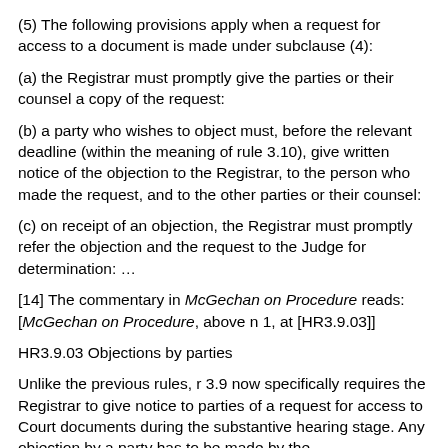(5) The following provisions apply when a request for access to a document is made under subclause (4):
(a) the Registrar must promptly give the parties or their counsel a copy of the request:
(b) a party who wishes to object must, before the relevant deadline (within the meaning of rule 3.10), give written notice of the objection to the Registrar, to the person who made the request, and to the other parties or their counsel:
(c) on receipt of an objection, the Registrar must promptly refer the objection and the request to the Judge for determination: …
[14] The commentary in McGechan on Procedure reads: [McGechan on Procedure, above n 1, at [HR3.9.03]]
HR3.9.03 Objections by parties
Unlike the previous rules, r 3.9 now specifically requires the Registrar to give notice to parties of a request for access to Court documents during the substantive hearing stage. Any objection by a party has to be made by the